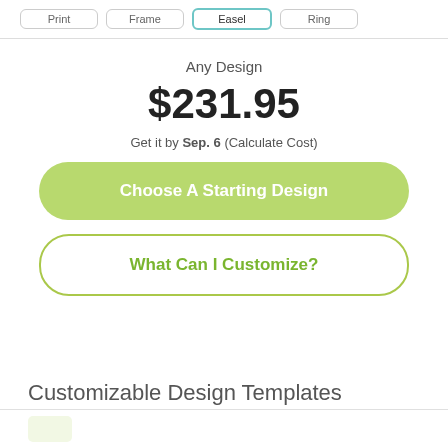[Figure (screenshot): Tab navigation row with 4 tabs partially visible: first tab, second tab, third tab (active, highlighted with teal border), fourth tab]
Any Design
$231.95
Get it by Sep. 6 (Calculate Cost)
Choose A Starting Design
What Can I Customize?
Customizable Design Templates